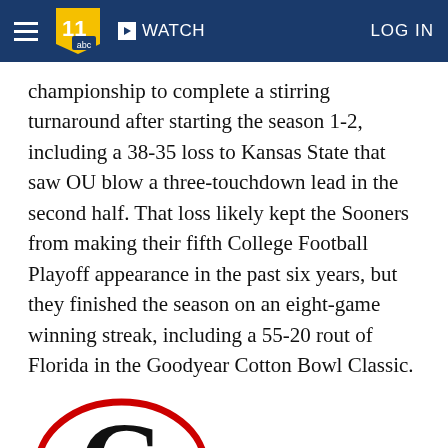WATCH  LOG IN
championship to complete a stirring turnaround after starting the season 1-2, including a 38-35 loss to Kansas State that saw OU blow a three-touchdown lead in the second half. That loss likely kept the Sooners from making their fifth College Football Playoff appearance in the past six years, but they finished the season on an eight-game winning streak, including a 55-20 rout of Florida in the Goodyear Cotton Bowl Classic.
[Figure (logo): University of Georgia Bulldogs 'G' logo — black letter G on white background inside a red oval outline]